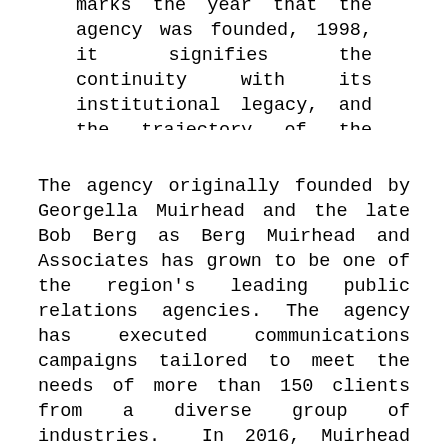marks the year that the agency was founded, 1998, it signifies the continuity with its institutional legacy, and the trajectory of the Black-owned, woman-owned businesses: Forward.
The agency originally founded by Georgella Muirhead and the late Bob Berg as Berg Muirhead and Associates has grown to be one of the region's leading public relations agencies. The agency has executed communications campaigns tailored to meet the needs of more than 150 clients from a diverse group of industries. In 2016, Muirhead and Berg passed the torch onto Marilyn Horn, 98Forward's current president and CFO, and her former business partner. Muirhead has remained engaged with the